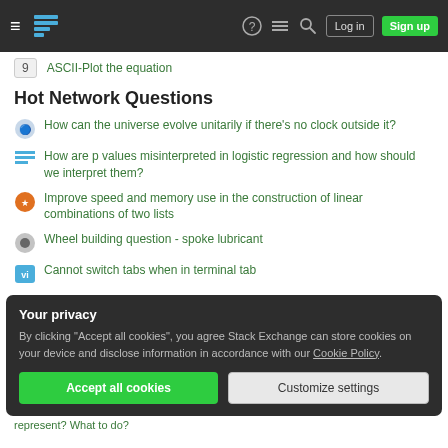Stack Exchange navigation header with Log in and Sign up buttons
9  ASCII-Plot the equation
Hot Network Questions
How can the universe evolve unitarily if there's no clock outside it?
How are p values misinterpreted in logistic regression and how should we interpret them?
Improve speed and memory use in the construction of linear combinations of two lists
Wheel building question - spoke lubricant
Cannot switch tabs when in terminal tab
Your privacy
By clicking "Accept all cookies", you agree Stack Exchange can store cookies on your device and disclose information in accordance with our Cookie Policy.
represent? What to do?